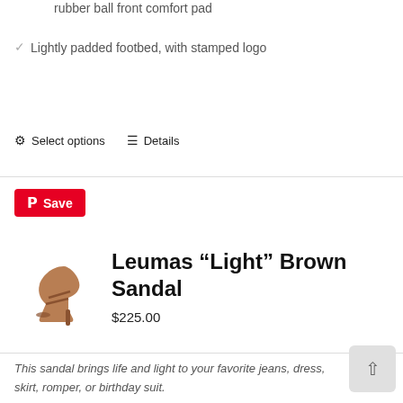rubber ball front comfort pad
Lightly padded footbed, with stamped logo
Select options   Details
[Figure (logo): Pinterest Save button (red background with Pinterest P logo and Save text)]
[Figure (photo): Brown high heel sandal product image]
Leumas “Light” Brown Sandal
$225.00
This sandal brings life and light to your favorite jeans, dress, skirt, romper, or birthday suit.